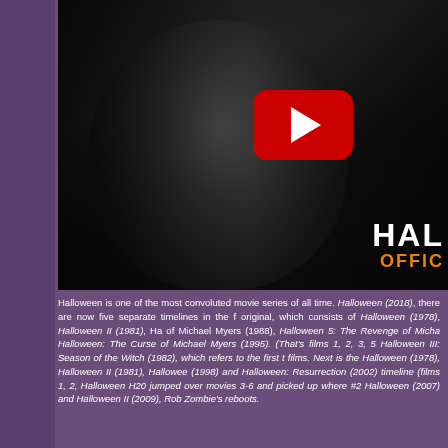[Figure (screenshot): YouTube video thumbnail showing a dark horror movie scene with a masked figure (Michael Myers) in near-darkness. A large red YouTube play button is overlaid in the center-right area. In the bottom-right corner, white text reads 'HAL' and orange text reads 'OFFIC' (partially visible, truncated by page edge).]
Halloween is one of the most convoluted movie series of all time. Halloween (2018), there are now five separate timelines in the franchise. First is the original, which consists of Halloween (1978), Halloween II (1981), Halloween 4: The Return of Michael Myers (1988), Halloween 5: The Revenge of Michael Myers (1989), and Halloween: The Curse of Michael Myers (1995). (That's films 1, 2, 3, 5, 6.) Counting Halloween III: Season of the Witch (1982), which refers to the first timeline as its own standalone films. Next is the Halloween (1978), Halloween II (1981), Halloween H20: 20 Years Later (1998) and Halloween: Resurrection (2002) timeline (films 1, 2, 7, 8). For this timeline, Halloween H20 jumped over movies 3-6 and picked up where #2 left off. Then there's Halloween (2007) and Halloween II (2009), Rob Zombie's reboots.